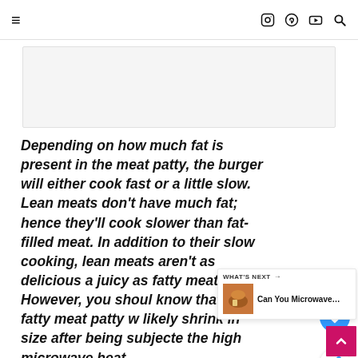≡  [Instagram] [Pinterest] [YouTube] [Search]
[Figure (other): Gray advertisement placeholder box]
Depending on how much fat is present in the meat patty, the burger will either cook fast or a little slow. Lean meats don't have much fat; hence they'll cook slower than fat-filled meat. In addition to their slow cooking, lean meats aren't as delicious and juicy as fatty meat. However, you should know that your fatty meat patty will likely shrink in size after being subjected to the high microwave heat.